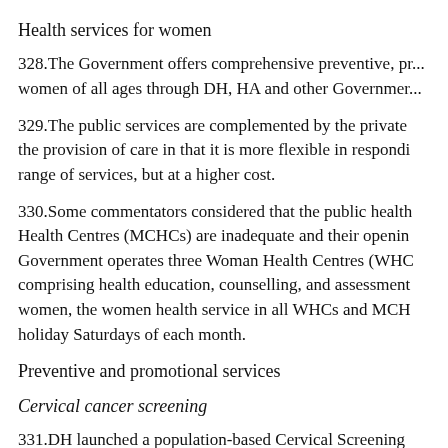Health services for women
328.The Government offers comprehensive preventive, p... women of all ages through DH, HA and other Governmer...
329.The public services are complemented by the private... the provision of care in that it is more flexible in respondi... range of services, but at a higher cost.
330.Some commentators considered that the public health... Health Centres (MCHCs) are inadequate and their openin... Government operates three Woman Health Centres (WHC... comprising health education, counselling, and assessment... women, the women health service in all WHCs and MCH... holiday Saturdays of each month.
Preventive and promotional services
Cervical cancer screening
331.DH launched a population-based Cervical Screening... private health care providers. The Programme promotes th... cervical cancer in Hong Kong. It aims to raise the awaren... cancer. The programme launched the Cervical Screening A... of charge through internet to women in Hong Kong. The...